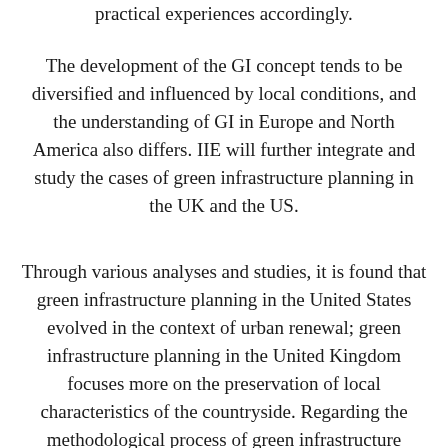practical experiences accordingly.
The development of the GI concept tends to be diversified and influenced by local conditions, and the understanding of GI in Europe and North America also differs. IIE will further integrate and study the cases of green infrastructure planning in the UK and the US.
Through various analyses and studies, it is found that green infrastructure planning in the United States evolved in the context of urban renewal; green infrastructure planning in the United Kingdom focuses more on the preservation of local characteristics of the countryside. Regarding the methodological process of green infrastructure planning, the U.S. is evaluated through elemental benefits and implementability, while the U.K. is